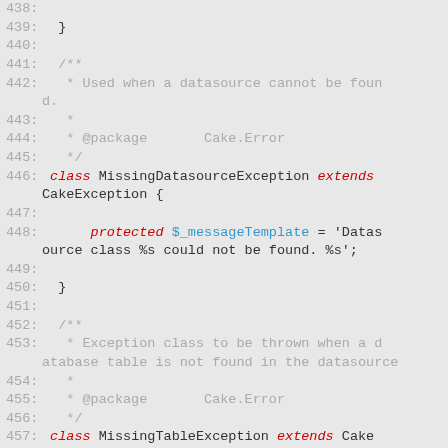[Figure (screenshot): Source code viewer showing PHP code lines 438-459, featuring class definitions MissingDatasourceException and MissingTableException with syntax highlighting. Line numbers shown in gray, keywords like class, extends, protected in red/italic, variable names in blue.]